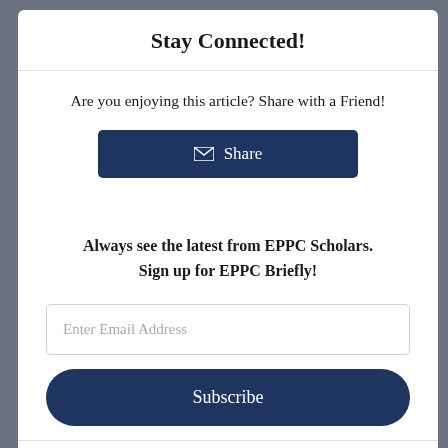Stay Connected!
Are you enjoying this article? Share with a Friend!
Share
Always see the latest from EPPC Scholars. Sign up for EPPC Briefly!
Enter Email Address
Subscribe
Close